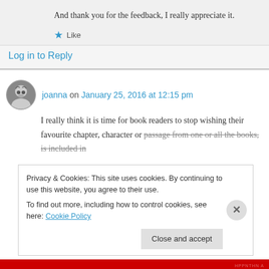And thank you for the feedback, I really appreciate it.
★ Like
Log in to Reply
joanna on January 25, 2016 at 12:15 pm
I really think it is time for book readers to stop wishing their favourite chapter, character or passage from one or all the books, is included in
Privacy & Cookies: This site uses cookies. By continuing to use this website, you agree to their use.
To find out more, including how to control cookies, see here: Cookie Policy
Close and accept